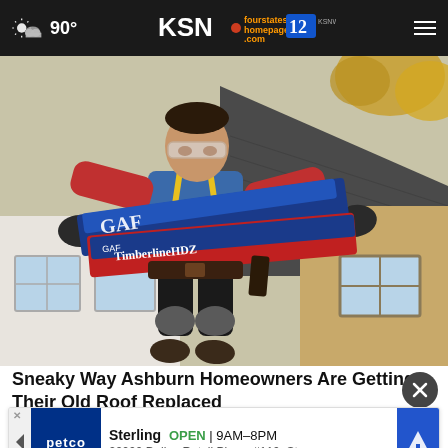90° KSN fourstates homepage .com 12
[Figure (photo): Worker in blue t-shirt, red sleeves, yellow safety harness, and knee pads carrying GAF Timberline HDZ shingle packages on a rooftop, with a house roof and autumn trees visible in the background.]
Sneaky Way Ashburn Homeowners Are Getting Their Old Roof Replaced
Smart
[Figure (other): Petco advertisement banner: Sterling OPEN | 9AM-8PM, 22000 Dulles Retail Plaza, #110, Ste]